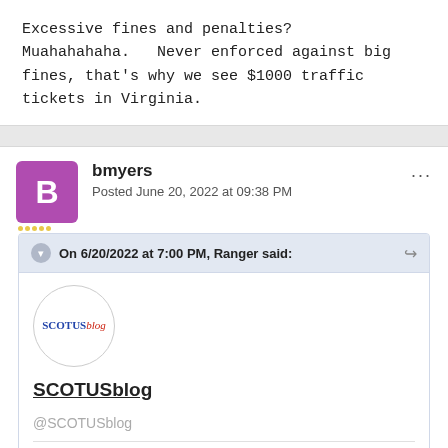Excessive fines and penalties?   Muahahahaha.   Never enforced against big fines, that's why we see $1000 traffic tickets in Virginia.
bmyers
Posted June 20, 2022 at 09:38 PM
On 6/20/2022 at 7:00 PM, Ranger said:
[Figure (logo): SCOTUSblog circular logo with blue SCOTUS text and red italic blog text]
SCOTUSblog
@SCOTUSblog
Expand ▼